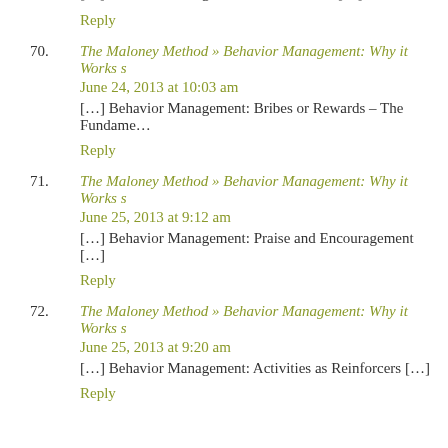[…] Behavior Management: An Overview […]
Reply
70. The Maloney Method » Behavior Management: Why it Works s June 24, 2013 at 10:03 am […] Behavior Management: Bribes or Rewards – The Fundame…
Reply
71. The Maloney Method » Behavior Management: Why it Works s June 25, 2013 at 9:12 am […] Behavior Management: Praise and Encouragement […]
Reply
72. The Maloney Method » Behavior Management: Why it Works s June 25, 2013 at 9:20 am […] Behavior Management: Activities as Reinforcers […]
Reply